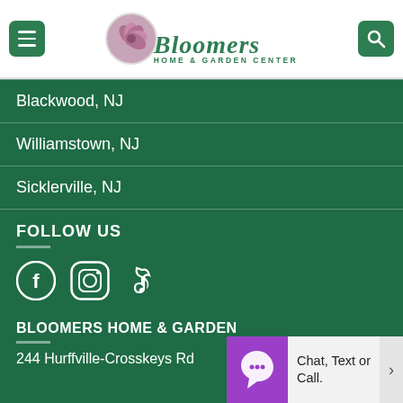[Figure (logo): Bloomers Home & Garden Center logo with circular flower image and green script text]
Blackwood, NJ
Williamstown, NJ
Sicklerville, NJ
FOLLOW US
[Figure (illustration): Social media icons: Facebook, Instagram, TikTok]
BLOOMERS HOME & GARDEN
244 Hurffville-Crosskeys Rd
[Figure (illustration): Chat widget with purple icon and text: Chat, Text or Call.]